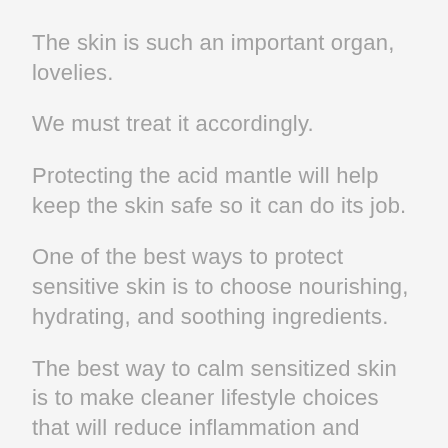The skin is such an important organ, lovelies.
We must treat it accordingly.
Protecting the acid mantle will help keep the skin safe so it can do its job.
One of the best ways to protect sensitive skin is to choose nourishing, hydrating, and soothing ingredients.
The best way to calm sensitized skin is to make cleaner lifestyle choices that will reduce inflammation and irritation.